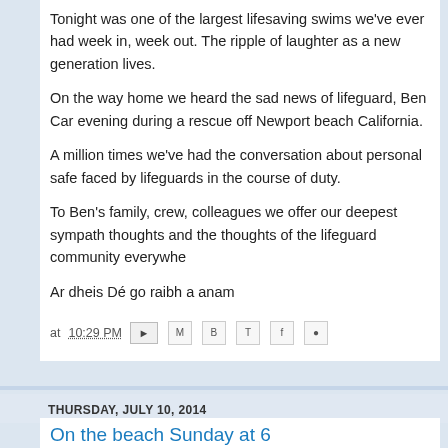Tonight was one of the largest lifesaving swims we've ever had week in, week out. The ripple of laughter as a new generation lives.
On the way home we heard the sad news of lifeguard, Ben Car evening during a rescue off Newport beach California.
A million times we've had the conversation about personal safe faced by lifeguards in the course of duty.
To Ben's family, crew, colleagues we offer our deepest sympath thoughts and the thoughts of the lifeguard community everywhe
Ar dheis Dé go raibh a anam
at 10:29 PM
THURSDAY, JULY 10, 2014
On the beach Sunday at 6